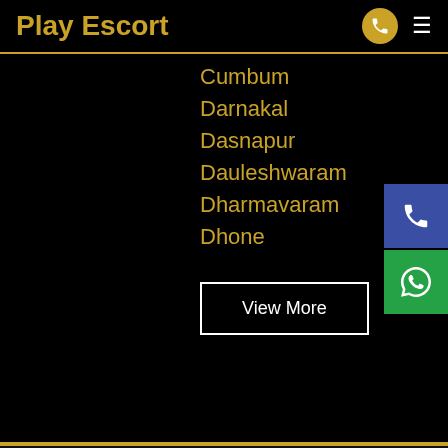Play Escort
Cumbum
Darnakal
Dasnapur
Dauleshwaram
Dharmavaram
Dhone
View More
Quick Links
Jaisalmer Escort
Jodhpur Escort
Udaipur Escort
Ajmer Escort